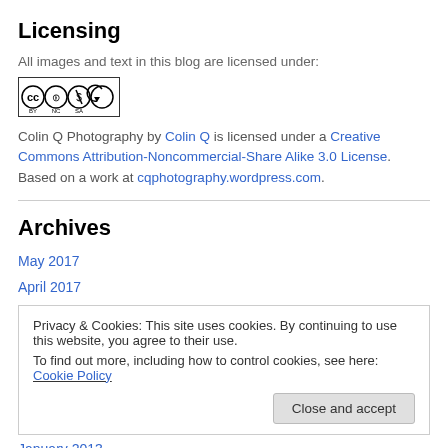Licensing
All images and text in this blog are licensed under:
[Figure (logo): Creative Commons BY NC SA license badge]
Colin Q Photography by Colin Q is licensed under a Creative Commons Attribution-Noncommercial-Share Alike 3.0 License. Based on a work at cqphotography.wordpress.com.
Archives
May 2017
April 2017
Privacy & Cookies: This site uses cookies. By continuing to use this website, you agree to their use. To find out more, including how to control cookies, see here: Cookie Policy
January 2013